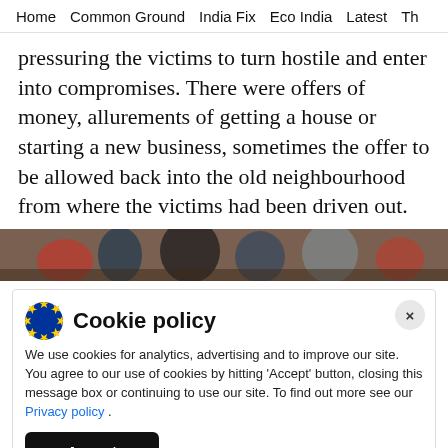Home   Common Ground   India Fix   Eco India   Latest   Th
pressuring the victims to turn hostile and enter into compromises. There were offers of money, allurements of getting a house or starting a new business, sometimes the offer to be allowed back into the old neighbourhood from where the victims had been driven out.
[Figure (photo): A photo strip showing people outdoors, partially visible]
Cookie policy
We use cookies for analytics, advertising and to improve our site. You agree to our use of cookies by hitting 'Accept' button, closing this message box or continuing to use our site. To find out more see our Privacy policy .
Accept